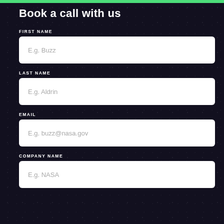Book a call with us
FIRST NAME
E.g. Buzz
LAST NAME
E.g. Aldrin
EMAIL
E.g. buzz@nasa.gov
COMPANY NAME
E.g. NASA